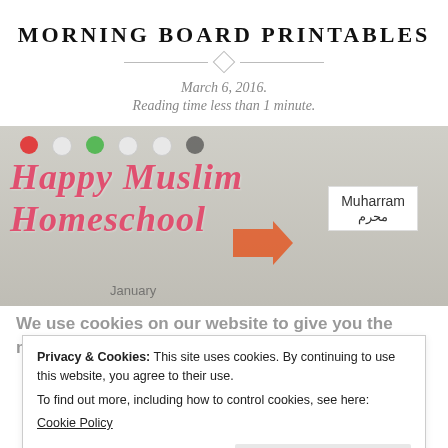MORNING BOARD PRINTABLES
March 6, 2016.
Reading time less than 1 minute.
[Figure (photo): Photo of a morning board display showing 'Happy Muslim Homeschool' text in pink cursive lettering, a card labeled 'Muharram' with Arabic text 'محرم', an orange arrow, and a 'January' label. Colorful dot magnets visible at top.]
We use cookies on our website to give you the most
Privacy & Cookies: This site uses cookies. By continuing to use this website, you agree to their use.
To find out more, including how to control cookies, see here:
Cookie Policy